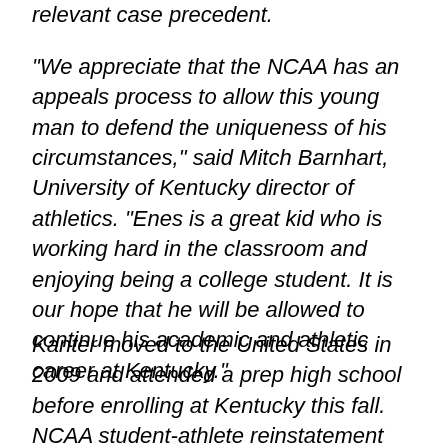relevant case precedent.
"We appreciate that the NCAA has an appeals process to allow this young man to defend the uniqueness of his circumstances," said Mitch Barnhart, University of Kentucky director of athletics. "Enes is a great kid who is working hard in the classroom and enjoying being a college student.  It is our hope that he will be allowed to continue his academic and athletic career at Kentucky."
Kanter moved to the United States in 2009 and attended a prep high school before enrolling at Kentucky this fall. NCAA student-athlete reinstatement guidelines allow Kanter to resume practicing but not compete or travel